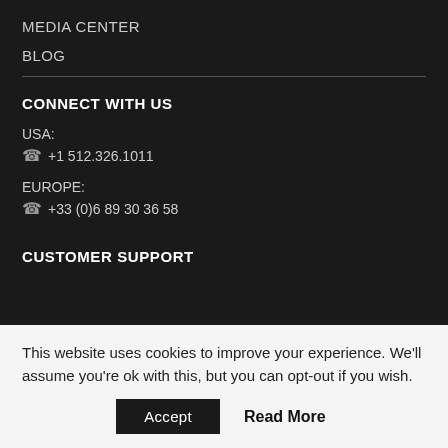MEDIA CENTER
BLOG
CONNECT WITH US
USA:
☎ +1 512.326.1011
EUROPE:
☎ +33 (0)6 89 30 36 58
CUSTOMER SUPPORT
This website uses cookies to improve your experience. We'll assume you're ok with this, but you can opt-out if you wish.
Accept   Read More